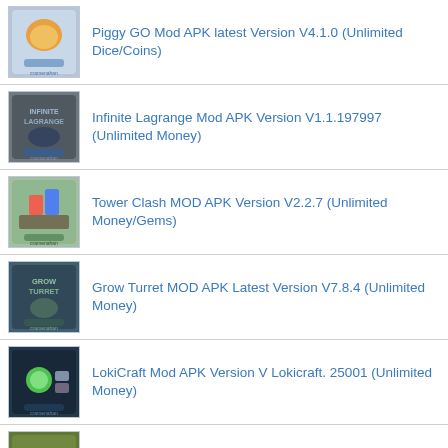Piggy GO Mod APK latest Version V4.1.0 (Unlimited Dice/Coins)
Infinite Lagrange Mod APK Version V1.1.197997 (Unlimited Money)
Tower Clash MOD APK Version V2.2.7 (Unlimited Money/Gems)
Grow Turret MOD APK Latest Version V7.8.4 (Unlimited Money)
LokiCraft Mod APK Version V Lokicraft. 25001 (Unlimited Money)
Dragon Tamer Mod APK latest Version V1.0.37 (Unlimited Money)
Landlord Go Mod APK latest Version V3.0.42 (Unlimited Money)